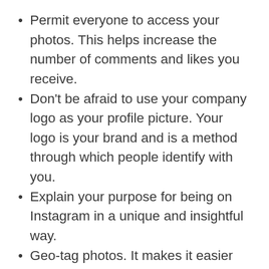Permit everyone to access your photos. This helps increase the number of comments and likes you receive.
Don't be afraid to use your company logo as your profile picture. Your logo is your brand and is a method through which people identify with you.
Explain your purpose for being on Instagram in a unique and insightful way.
Geo-tag photos. It makes it easier for customers to find your business.
Create a posting schedule, but don't post too often. Posting too often, or posts that are boring, can damage your online brand. People know when something is